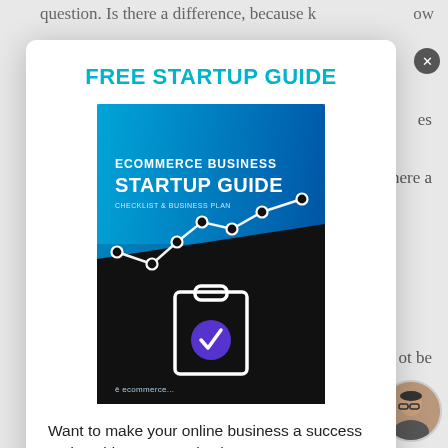question. Is there a difference, because know
es
here a
FREE STARTUP GUIDE
[Figure (illustration): Book cover for 'Ecommerce Business Startup Guide - Checklist & Business Plan' with blue gradient background, line chart with data points, and clipboard icon with checkmark]
ot be
hey are
buy
Want to make your online business a success and avoid common mistakes? We've put together a free guide and business plan template
will
agree
n
never b
Download Free Startup Guide